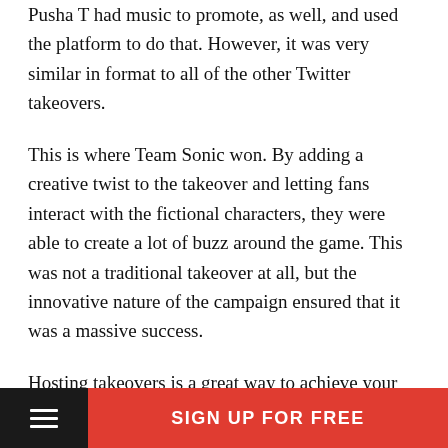Pusha T had music to promote, as well, and used the platform to do that. However, it was very similar in format to all of the other Twitter takeovers.
This is where Team Sonic won. By adding a creative twist to the takeover and letting fans interact with the fictional characters, they were able to create a lot of buzz around the game. This was not a traditional takeover at all, but the innovative nature of the campaign ensured that it was a massive success.
Hosting takeovers is a great way to achieve your social media goals, and can also turn out to be incredibly fun. If done right, it’s a sure-shot way to drive engagement to your brand’s social channels. Following these tips will help you ace takeovers, should you decide to try your
SIGN UP FOR FREE